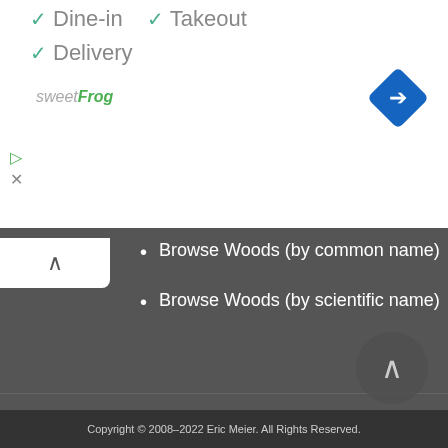✓ Dine-in   ✓ Takeout
✓ Delivery
[Figure (logo): sweetFrog logo in italic text, with 'sweet' in grey and 'Frog' in green]
[Figure (infographic): Blue diamond navigation turn-right icon in top right]
Browse Woods (by common name)
Browse Woods (by scientific name)
WOOD ID
WOOD INFO & STATS
WOODWORKING
SUPPORTING THE SITE
Copyright © 2008–2022 Eric Meier. All Rights Reserved.